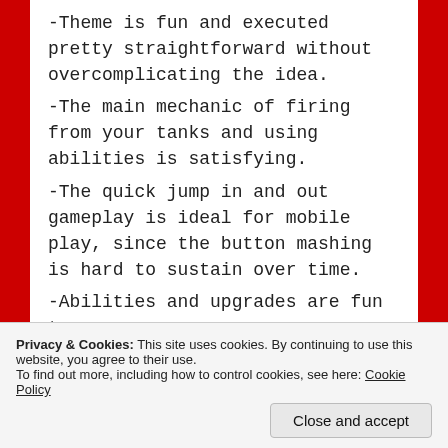-Theme is fun and executed pretty straightforward without overcomplicating the idea.
-The main mechanic of firing from your tanks and using abilities is satisfying.
-The quick jump in and out gameplay is ideal for mobile play, since the button mashing is hard to sustain over time.
-Abilities and upgrades are fun to use.
-Art/Audio is clear and services the game well.
Privacy & Cookies: This site uses cookies. By continuing to use this website, you agree to their use. To find out more, including how to control cookies, see here: Cookie Policy
Close and accept